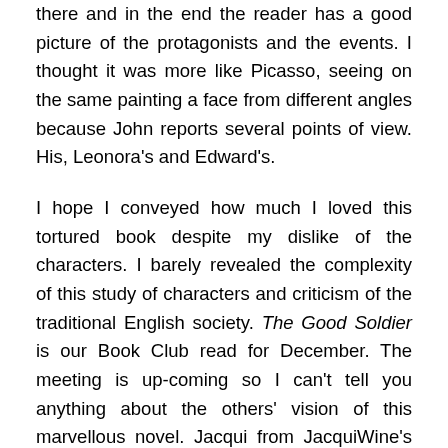there and in the end the reader has a good picture of the protagonists and the events. I thought it was more like Picasso, seeing on the same painting a face from different angles because John reports several points of view. His, Leonora's and Edward's.
I hope I conveyed how much I loved this tortured book despite my dislike of the characters. I barely revealed the complexity of this study of characters and criticism of the traditional English society. The Good Soldier is our Book Club read for December. The meeting is up-coming so I can't tell you anything about the others' vision of this marvellous novel. Jacqui from JacquiWine's Journal joined us this month and her review is here. Max from Pechorin's Journal is also reading it, so we can expect a review in the future. And Caroline from Beauty is a Sleeping Cat may